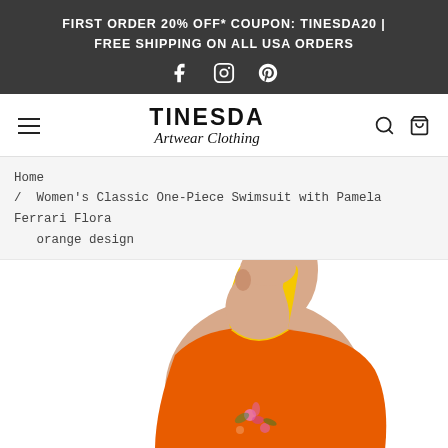FIRST ORDER 20% OFF* COUPON: TINESDA20 | FREE SHIPPING ON ALL USA ORDERS
[Figure (logo): TINESDA Artwear Clothing logo with hamburger menu, search and cart icons]
Home / Women's Classic One-Piece Swimsuit with Pamela Ferrari Flora orange design
[Figure (photo): Woman wearing an orange one-piece swimsuit with yellow trim, viewed from the side, partial crop showing neck and upper torso]